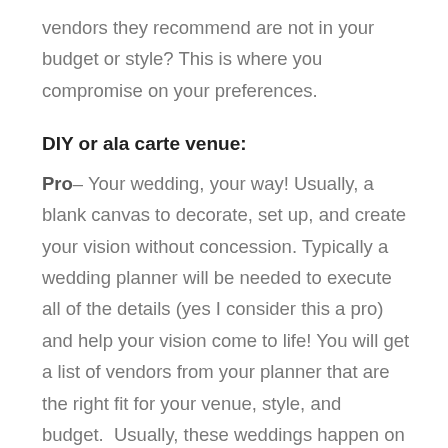vendors they recommend are not in your budget or style? This is where you compromise on your preferences.
DIY or ala carte venue:
Pro– Your wedding, your way! Usually, a blank canvas to decorate, set up, and create your vision without concession. Typically a wedding planner will be needed to execute all of the details (yes I consider this a pro) and help your vision come to life! You will get a list of vendors from your planner that are the right fit for your venue, style, and budget.  Usually, these weddings happen on a farm, barn, loft, park, or tent and can truly show your personal side as a couple.